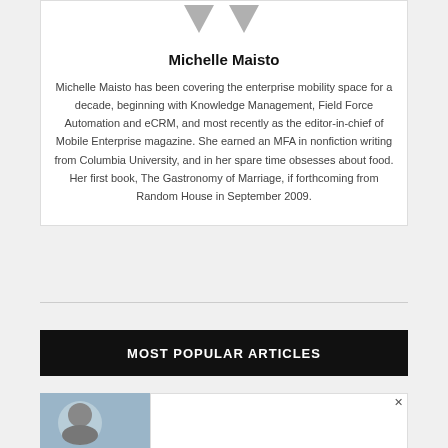[Figure (illustration): Two downward-pointing grey chevron/arrow shapes forming a decorative header element above the author name]
Michelle Maisto
Michelle Maisto has been covering the enterprise mobility space for a decade, beginning with Knowledge Management, Field Force Automation and eCRM, and most recently as the editor-in-chief of Mobile Enterprise magazine. She earned an MFA in nonfiction writing from Columbia University, and in her spare time obsesses about food. Her first book, The Gastronomy of Marriage, if forthcoming from Random House in September 2009.
MOST POPULAR ARTICLES
[Figure (photo): Thumbnail photo of a person, partially visible, with blue background]